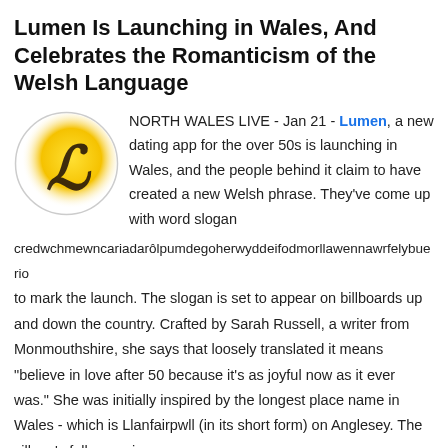Lumen Is Launching in Wales, And Celebrates the Romanticism of the Welsh Language
[Figure (logo): Lumen app logo: yellow circular gradient with cursive letter L in dark brown/black on a light gray circle border]
NORTH WALES LIVE - Jan 21 - Lumen, a new dating app for the over 50s is launching in Wales, and the people behind it claim to have created a new Welsh phrase. They've come up with word slogan credwchmewncariadarôlpumdegoherwyddeifodmorllawennawrfelybuerio to mark the launch. The slogan is set to appear on billboards up and down the country. Crafted by Sarah Russell, a writer from Monmouthshire, she says that loosely translated it means "believe in love after 50 because it's as joyful now as it ever was." She was initially inspired by the longest place name in Wales - which is Llanfairpwll (in its short form) on Anglesey. The village's full name is Llanfairpwllgwyngyllgogerychwyrndrobwllllantysiliogogogoch.
by Joel Leaver